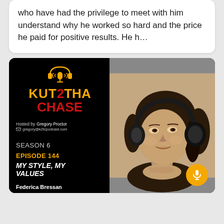who have had the privilege to meet with him understand why he worked so hard and the price he paid for positive results. He h...
[Figure (other): Podcast episode card for 'Kut2Tha Chase' podcast hosted by Gregory Proctor. Left panel on black background shows podcast logo with microphone icon, brand name 'KUT2THA CHASE' in gold and red, hosted by info, Season 6, Episode 144, title 'MY STYLE, MY VALUES', guest name 'Federica Bressan'. Right panel shows a sepia/monochrome portrait photo of a woman (Federica Bressan) wearing headphones, smiling. Orange microphone button at bottom right.]